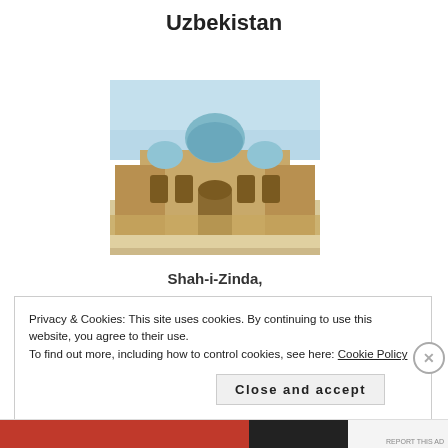Uzbekistan
[Figure (photo): Photograph of Shah-i-Zinda mausoleum complex in Samarkand, Uzbekistan, showing sandy brick buildings with a blue dome under a bright sky]
Shah-i-Zinda, Samarkand, Uzbekistan
Privacy & Cookies: This site uses cookies. By continuing to use this website, you agree to their use.
To find out more, including how to control cookies, see here: Cookie Policy
Close and accept